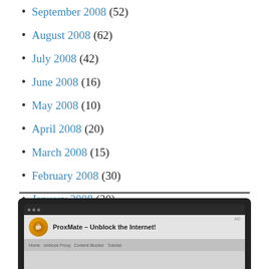September 2008 (52)
August 2008 (62)
July 2008 (42)
June 2008 (16)
May 2008 (10)
April 2008 (20)
March 2008 (15)
February 2008 (30)
January 2008 (20)
December 2007 (13)
[Figure (screenshot): Screenshot of a browser displaying the ProxMate - Unblock the Internet! browser extension advertisement]